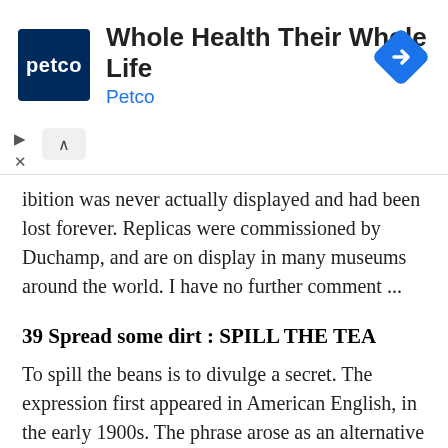[Figure (other): Petco advertisement banner: Petco logo (white text on dark blue background), headline 'Whole Health Their Whole Life', brand name 'Petco' in blue, navigation diamond icon on right, collapse and close controls on left]
ibition was never actually displayed and had been lost forever. Replicas were commissioned by Duchamp, and are on display in many museums around the world. I have no further comment ...
39 Spread some dirt : SPILL THE TEA
To spill the beans is to divulge a secret. The expression first appeared in American English, in the early 1900s. The phrase arose as an alternative to “spoil the beans” or “upset the applecart”. The similarly meaning phrase “spill the tea” is more prevalent on the other side of the Atlantic.